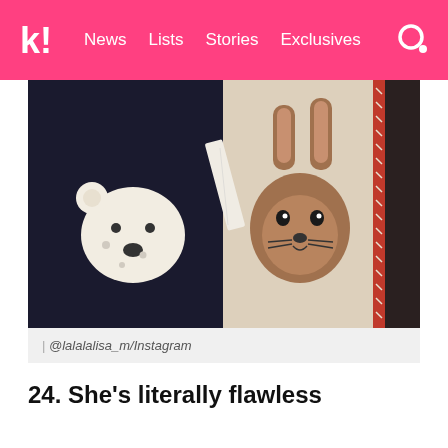k! News Lists Stories Exclusives
[Figure (photo): Close-up photo of two sweaters/clothing items side by side. Left side shows a black fabric with a fluffy white bear patch/applique. Right side shows a beige/cream knit sweater with a woven brown rabbit face design and red trim stitching on the right edge.]
| @lalalalisa_m/Instagram
24. She’s literally flawless